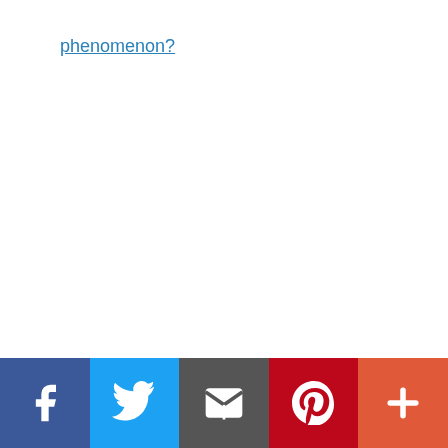phenomenon?
[Figure (other): Social sharing bar with Facebook, Twitter, Email, Pinterest, and More buttons at the bottom of the page]